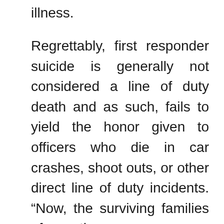illness.
Regrettably, first responder suicide is generally not considered a line of duty death and as such, fails to yield the honor given to officers who die in car crashes, shoot outs, or other direct line of duty incidents. “Now, the surviving families of the courageous defenders of democracy, Jeffrey Smith and Howard Liebengood — who were buried in private ceremonies, want the deaths of their loved ones recognized as “line of duty” deaths”. These deaths lack the honor and pageantry that accompanied Sicknick’s